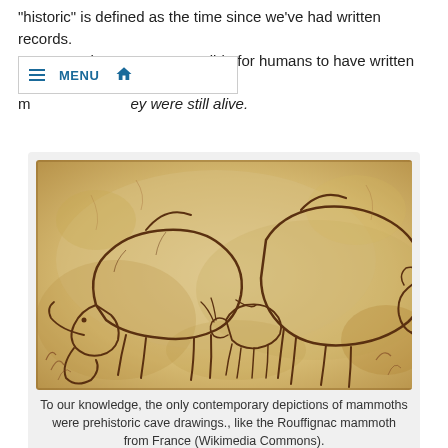"historic" is defined as the time since we've had written records. It was not then possible for humans to have written about mammoths while they were still alive.
[Figure (photo): Cave drawing of mammoths, known as the Rouffignac mammoth from France, showing prehistoric line art of large animals on a stone surface with warm brown tones.]
To our knowledge, the only contemporary depictions of mammoths were prehistoric cave drawings., like the Rouffignac mammoth from France (Wikimedia Commons).